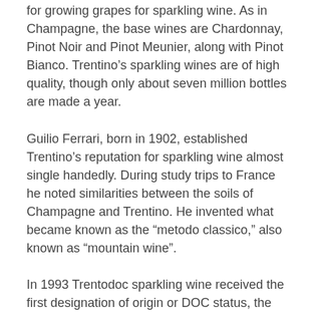for growing grapes for sparkling wine. As in Champagne, the base wines are Chardonnay, Pinot Noir and Pinot Meunier, along with Pinot Bianco. Trentino’s sparkling wines are of high quality, though only about seven million bottles are made a year.
Guilio Ferrari, born in 1902, established Trentino’s reputation for sparkling wine almost single handedly. During study trips to France he noted similarities between the soils of Champagne and Trentino. He invented what became known as the “metodo classico,” also known as “mountain wine”.
In 1993 Trentodoc sparkling wine received the first designation of origin or DOC status, the country’s indicator of quality. Strict regulations control production, including a requirement for secondary fermentation in the bottle, plus prolonged yeast contact and ageing. Reserve wines must spend a minimum of 36 month on lees while Millesimato must have 24 months.
The Consorzio Vini del Trentino, or Wine Association of Trentino,